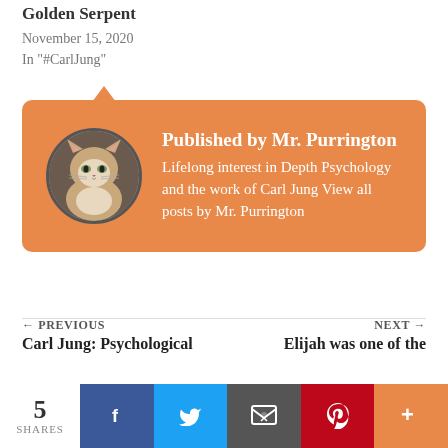Golden Serpent
November 15, 2020
In "#CarlJung"
[Figure (infographic): Orange rounded author card with speech bubble triangle at top. Contains circular cat avatar on the left and author info on the right reading 'Published by Mr. Purrington' in bold white, then 'Lifelong interest in Depth Psychology and the work of Carl Jung View all posts by Mr. Purrington' in white.]
← PREVIOUS
Carl Jung: Psychological
NEXT →
Elijah was one of the
Advertisements
5 SHARES  [Facebook] [Twitter] [Email] [Pinterest] [More]